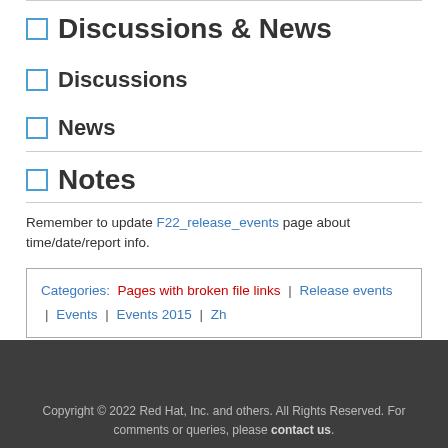Discussions & News
Discussions
News
Notes
Remember to update F22_release_events page about time/date/report info.
Categories: Pages with broken file links | Release events | Events | Events 2015 | Zh
Copyright © 2022 Red Hat, Inc. and others. All Rights Reserved. For comments or queries, please contact us.